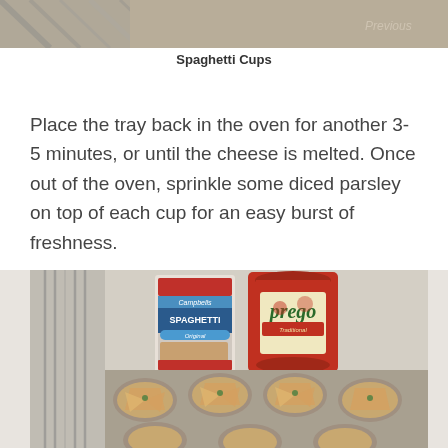[Figure (photo): Top portion of a photo showing a baking tray with items, partially cropped]
Spaghetti Cups
Place the tray back in the oven for another 3-5 minutes, or until the cheese is melted. Once out of the oven, sprinkle some diced parsley on top of each cup for an easy burst of freshness.
[Figure (photo): Photo showing a can of Campbell's Spaghetti Original sauce and a jar of Prego Traditional marinara sauce on a striped cloth, with a muffin tin below containing wonton cup appetizers garnished with herbs and cheese]